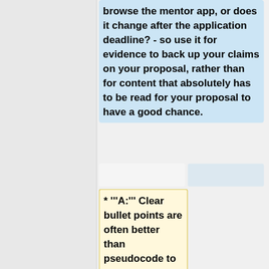browse the mentor app, or does it change after the application deadline? - so use it for evidence to back up your claims on your proposal, rather than for content that absolutely has to be read for your proposal to have a good chance.
* '''A:''' Clear bullet points are often better than pseudocode to specify what the code will do.  Real code should usually be hyper-linked to, and in